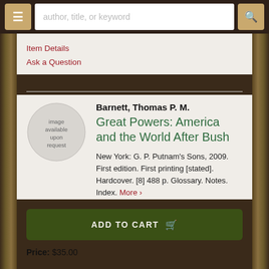author, title, or keyword
Item Details
Ask a Question
[Figure (illustration): Circular image placeholder with text 'image available upon request' in gray]
Barnett, Thomas P. M.
Great Powers: America and the World After Bush
New York: G. P. Putnam's Sons, 2009. First edition. First printing [stated]. Hardcover. [8] 488 p. Glossary. Notes. Index. More >
ADD TO CART
Price: $35.00